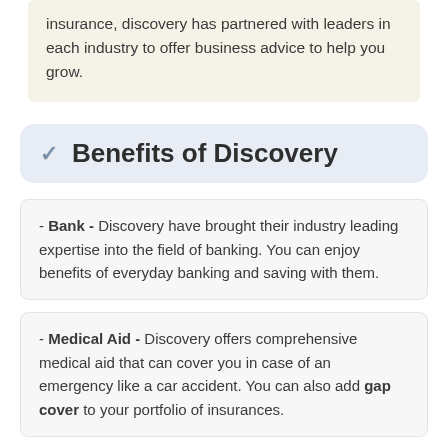insurance, discovery has partnered with leaders in each industry to offer business advice to help you grow.
Benefits of Discovery
- Bank - Discovery have brought their industry leading expertise into the field of banking. You can enjoy benefits of everyday banking and saving with them.
- Medical Aid - Discovery offers comprehensive medical aid that can cover you in case of an emergency like a car accident. You can also add gap cover to your portfolio of insurances.
- (partial, cut off at bottom)